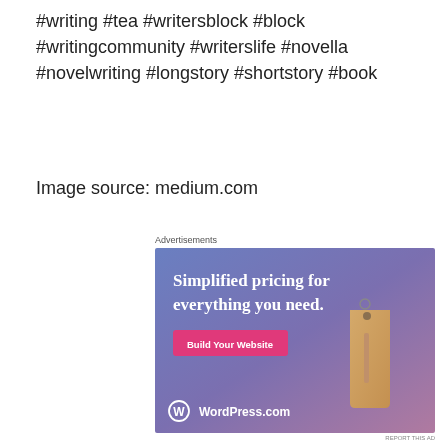#writing #tea #writersblock #block #writingcommunity #writerslife #novella #novelwriting #longstory #shortstory #book
Image source: medium.com
Advertisements
[Figure (photo): WordPress.com advertisement with blue-purple gradient background showing text 'Simplified pricing for everything you need.' with a pink 'Build Your Website' button and a hanging price tag illustration, with WordPress.com logo at bottom.]
REPORT THIS AD